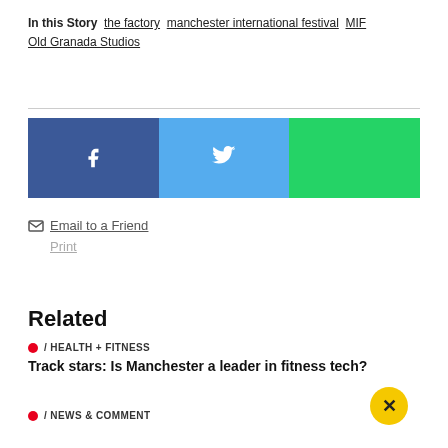In this Story  the factory  manchester international festival  MIF  Old Granada Studios
[Figure (infographic): Social share buttons: Facebook (dark blue with f icon), Twitter (light blue with bird icon), WhatsApp/green (green with no icon visible)]
Email to a Friend
Print
Related
/ HEALTH + FITNESS
Track stars: Is Manchester a leader in fitness tech?
/ NEWS & COMMENT